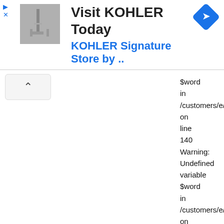[Figure (other): Advertisement banner: thumbnail image of bathroom fixture, text 'Visit KOHLER Today' and 'KOHLER Signature Store by ..' in blue, navigation arrow icon in blue diamond shape. Navigation controls (play arrow and X) on left.]
[Figure (other): Collapse/accordion button with caret-up symbol]
$word
in
/customers/e/c/c/everttaube.info/httpd.v
on
line
140
Warning:
Undefined
variable
$word
in
/customers/e/c/c/everttaube.info/httpd.v
on
line
140
Warning:
Undefined
variable
$word
in
/customers/e/c/c/everttaube.info/httpd.v
on
line
140
Warning: